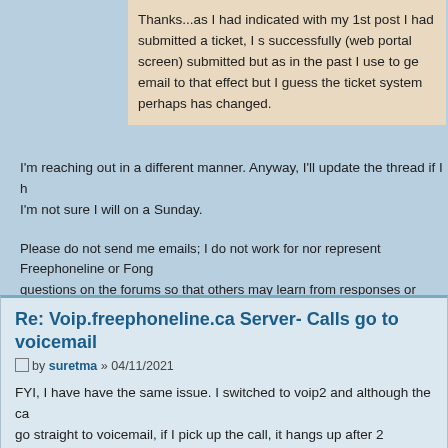Thanks...as I had indicated with my 1st post I had submitted a ticket, I s successfully (web portal screen) submitted but as in the past I use to ge email to that effect but I guess the ticket system perhaps has changed.
I'm reaching out in a different manner. Anyway, I'll update the thread if I h I'm not sure I will on a Sunday.
Please do not send me emails; I do not work for nor represent Freephoneline or Fong questions on the forums so that others may learn from responses or assist you. Than have an issue with your account or have a billing issue, submit a ticket here: https://support.fongo.com/hc/en-us/requests/new. Visit http://status.fongo.com/ to che FPL/Fongo service status. Freephoneline setup guides can be found at viewforum.php
Re: Voip.freephoneline.ca Server- Calls go to voicemail
by suretma » 04/11/2021
FYI, I have have the same issue. I switched to voip2 and although the ca go straight to voicemail, if I pick up the call, it hangs up after 2 seconds. V voip4 and report back.
Re: Voip.freephoneline.ca Server- Calls go to voicemail
by suretma » 04/11/2021
Ok, tried voip4 and still hung up. Restarted both router and ATA and now